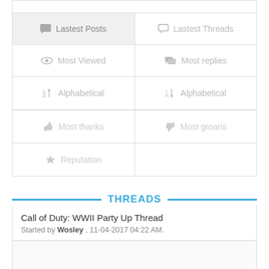| Lastest Posts | Lastest Threads |
| --- | --- |
| Most Viewed | Most replies |
| Alphabetical | Alphabetical |
| Most thanks | Most groans |
| Reputation |  |
THREADS
Call of Duty: WWII Party Up Thread
Started by Wosley , 11-04-2017 04:22 AM.